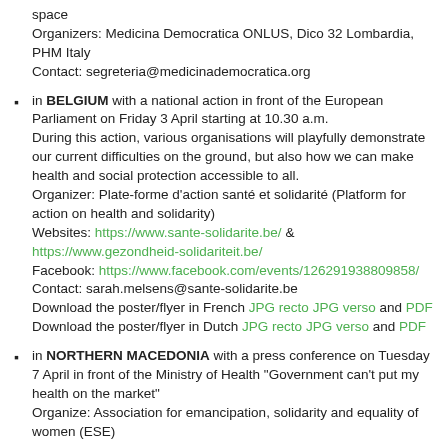space
Organizers: Medicina Democratica ONLUS, Dico 32 Lombardia, PHM Italy
Contact: segreteria@medicinademocratica.org
in BELGIUM with a national action in front of the European Parliament on Friday 3 April starting at 10.30 a.m.
During this action, various organisations will playfully demonstrate our current difficulties on the ground, but also how we can make health and social protection accessible to all.
Organizer: Plate-forme d'action santé et solidarité (Platform for action on health and solidarity)
Websites: https://www.sante-solidarite.be/ & https://www.gezondheid-solidariteit.be/
Facebook: https://www.facebook.com/events/126291938809858/
Contact: sarah.melsens@sante-solidarite.be
Download the poster/flyer in French JPG recto JPG verso and PDF
Download the poster/flyer in Dutch JPG recto JPG verso and PDF
in NORTHERN MACEDONIA with a press conference on Tuesday 7 April in front of the Ministry of Health "Government can't put my health on the market"
Organize: Association for emancipation, solidarity and equality of women (ESE)